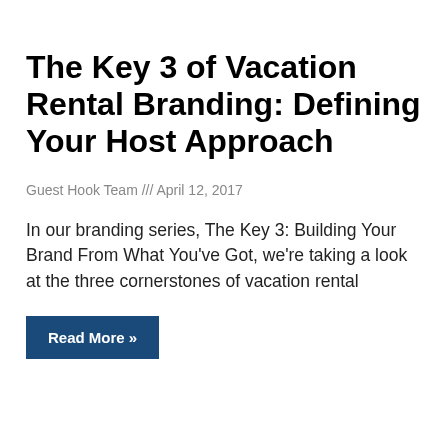The Key 3 of Vacation Rental Branding: Defining Your Host Approach
Guest Hook Team /// April 12, 2017
In our branding series, The Key 3: Building Your Brand From What You've Got, we're taking a look at the three cornerstones of vacation rental
Read More »